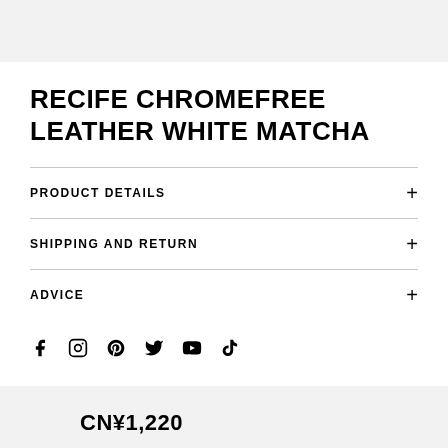RECIFE CHROMEFREE LEATHER WHITE MATCHA
PRODUCT DETAILS
SHIPPING AND RETURN
ADVICE
CN¥1,220